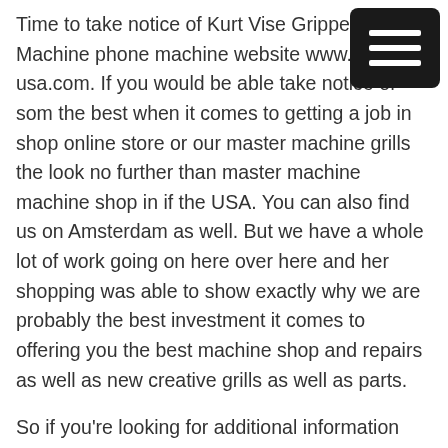[Figure (other): Hamburger menu icon — three horizontal white bars on a dark rounded-rectangle background, positioned in the top-right corner]
Time to take notice of Kurt Vise Gripper Jaws. Machine phone machine website www.mmm-usa.com. If you would be able take notice of some the best when it comes to getting a job in shop online store or our master machine grills the look no further than master machine machine shop in if the USA. You can also find us on Amsterdam as well. But we have a whole lot of work going on here over here and her shopping was able to show exactly why we are probably the best investment it comes to offering you the best machine shop and repairs as well as new creative grills as well as parts.
So if you're looking for additional information about us here at machine shop USA then look no further than our gripper Jaws. We have an online store as well as we have a job shop as well as you can understand more about us our podcast as well as our store online. We have a list of services that you can find you can also find us on social media